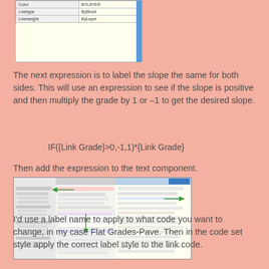[Figure (screenshot): CAD software properties panel showing Color (BYLAYER), Linetype (ByBlock), Lineweight (ByLayer) fields with a blue scroll bar on the right.]
The next expression is to label the slope the same for both sides. This will use an expression to see if the slope is positive and then multiply the grade by 1 or –1 to get the desired slope.
Then add the expression to the text component.
[Figure (screenshot): CAD software dialog showing label style editor with expression field and various settings panels, with green arrows pointing to relevant fields.]
I’d use a label name to apply to what code you want to change, in my case Flat Grades-Pave. Then in the code set style apply the correct label style to the link code.